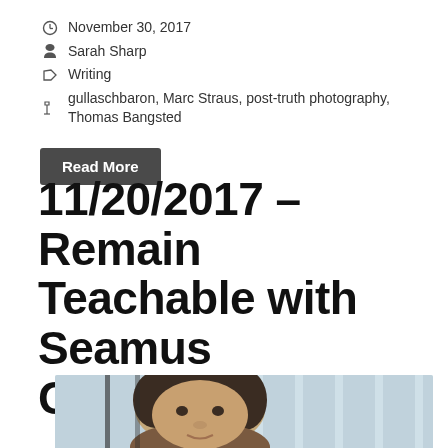November 30, 2017
Sarah Sharp
Writing
gullaschbaron, Marc Straus, post-truth photography, Thomas Bangsted
Read More
11/20/2017 – Remain Teachable with Seamus Gallagher
[Figure (photo): Portrait photo of a young man with dark curly hair, photographed from close up, with a window/bars visible in the background]